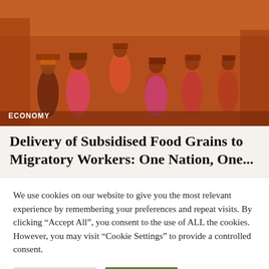[Figure (photo): Workers carrying bricks on their heads at a brick kiln, wearing colorful saris, in warm orange-red tones.]
ECONOMY
Delivery of Subsidised Food Grains to Migratory Workers: One Nation, One...
We use cookies on our website to give you the most relevant experience by remembering your preferences and repeat visits. By clicking “Accept All”, you consent to the use of ALL the cookies. However, you may visit “Cookie Settings” to provide a controlled consent.
Cookie Settings
Accept All